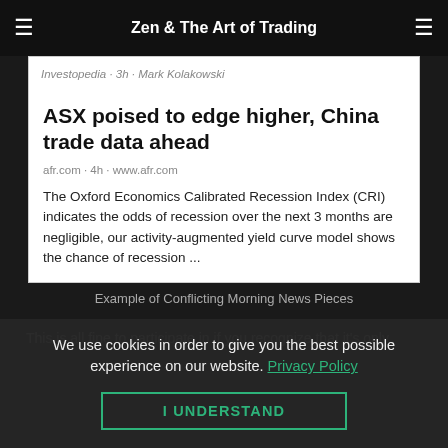Zen & The Art of Trading
Investopedia · 3h · Mark Kolakowski
ASX poised to edge higher, China trade data ahead
afr.com · 4h · www.afr.com
The Oxford Economics Calibrated Recession Index (CRI) indicates the odds of recession over the next 3 months are negligible, our activity-augmented yield curve model shows the chance of recession ...
Example of Conflicting Morning News Pieces
This is all fine to participate in if you recognize that it's only
We use cookies in order to give you the best possible experience on our website. Privacy Policy
I UNDERSTAND